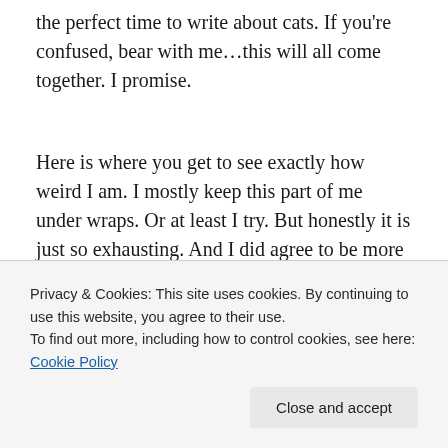the perfect time to write about cats. If you're confused, bear with me…this will all come together. I promise.
Here is where you get to see exactly how weird I am. I mostly keep this part of me under wraps. Or at least I try. But honestly it is just so exhausting. And I did agree to be more open and authentic in this blog. So here I am. Flying the weirdness flag high and proud!
[Figure (photo): Partial photo showing a window or screen with green outdoor background and wooden/metal structures visible]
Privacy & Cookies: This site uses cookies. By continuing to use this website, you agree to their use.
To find out more, including how to control cookies, see here: Cookie Policy